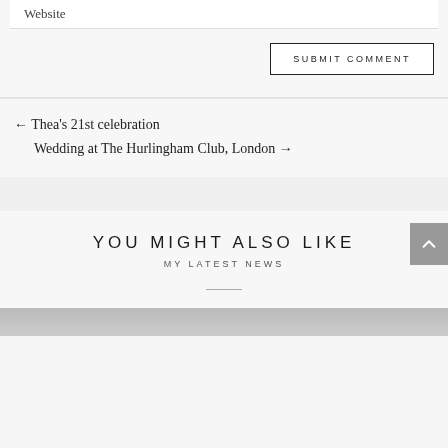Website
SUBMIT COMMENT
← Thea's 21st celebration
Wedding at The Hurlingham Club, London →
YOU MIGHT ALSO LIKE
MY LATEST NEWS